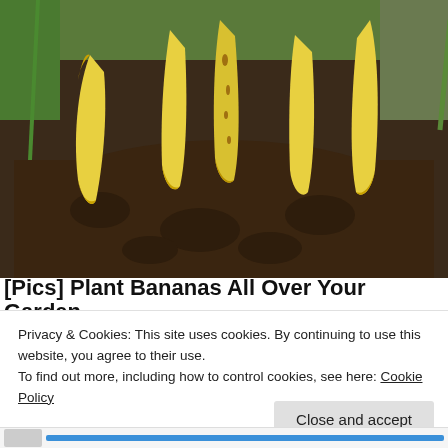[Figure (photo): Photograph of banana peels planted upright in dark garden soil, with green plants and grass visible in the background. Several yellow banana peels stick out of the dirt at various angles.]
[Pics] Plant Bananas All Over Your Garden.
Privacy & Cookies: This site uses cookies. By continuing to use this website, you agree to their use.
To find out more, including how to control cookies, see here: Cookie Policy